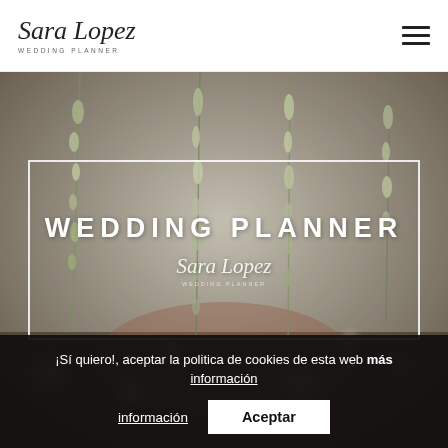[Figure (logo): Sara Lopez Wedding Planner logo in script font with subtitle]
[Figure (photo): Hero background photo of hanging floral decorations with bokeh effect, warm muted tones]
WEDDING PLANNER
[Figure (logo): Sara Lopez Wedding Planner script logo in white overlaid on hero image]
¡Sí quiero!, aceptar la politica de cookies de esta web más información
Aceptar